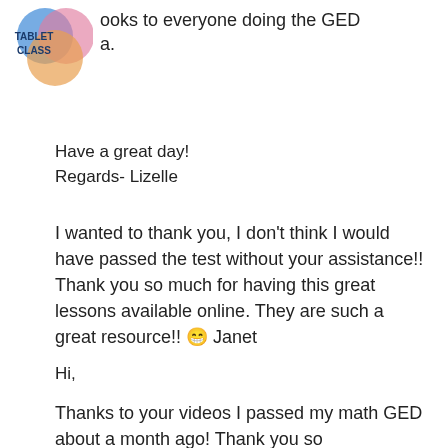[Figure (logo): TabletClass logo with overlapping colored circles (blue, pink, orange) and text TABLET CLASS in dark blue]
ooks to everyone doing the GED a.
Have a great day!
Regards- Lizelle
I wanted to thank you, I don't think I would have passed the test without your assistance!! Thank you so much for having this great lessons available online. They are such a great resource!! 😁 Janet
Hi,
Thanks to your videos I passed my math GED about a month ago! Thank you so